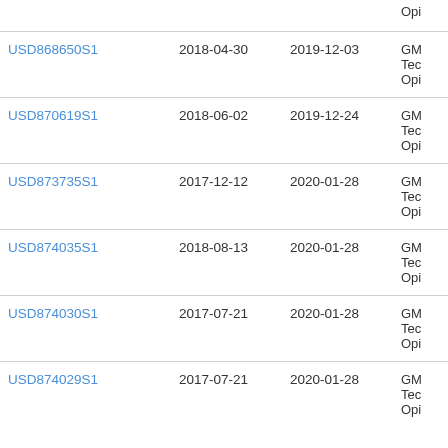| ID | Date 1 | Date 2 | Description |
| --- | --- | --- | --- |
|  |  |  | Opi |
| USD868650S1 | 2018-04-30 | 2019-12-03 | GM
Tec
Opi |
| USD870619S1 | 2018-06-02 | 2019-12-24 | GM
Tec
Opi |
| USD873735S1 | 2017-12-12 | 2020-01-28 | GM
Tec
Opi |
| USD874035S1 | 2018-08-13 | 2020-01-28 | GM
Tec
Opi |
| USD874030S1 | 2017-07-21 | 2020-01-28 | GM
Tec
Opi |
| USD874029S1 | 2017-07-21 | 2020-01-28 | GM
Tec
Opi |